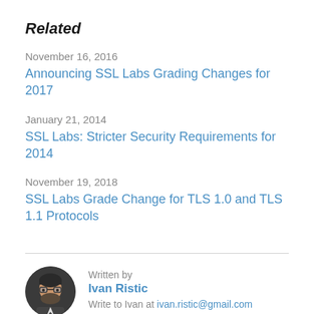Related
November 16, 2016
Announcing SSL Labs Grading Changes for 2017
January 21, 2014
SSL Labs: Stricter Security Requirements for 2014
November 19, 2018
SSL Labs Grade Change for TLS 1.0 and TLS 1.1 Protocols
Written by
Ivan Ristic
Write to Ivan at ivan.ristic@gmail.com